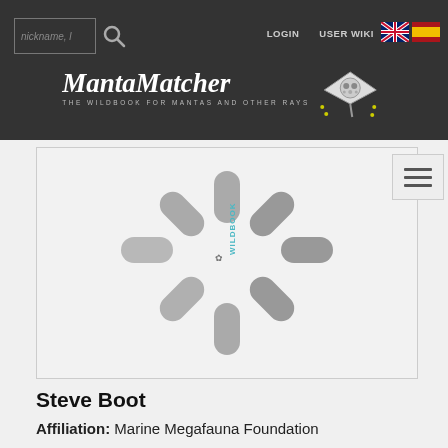MantaMatcher - THE WILDBOOK FOR MANTAS AND OTHER RAYS
[Figure (logo): MantaMatcher logo with stylized manta ray illustration and tagline 'THE WILDBOOK FOR MANTAS AND OTHER RAYS']
[Figure (screenshot): Loading spinner (gray rounded bars radiating from center) with Wildbook watermark text]
Steve Boot
Affiliation: Marine Megafauna Foundation